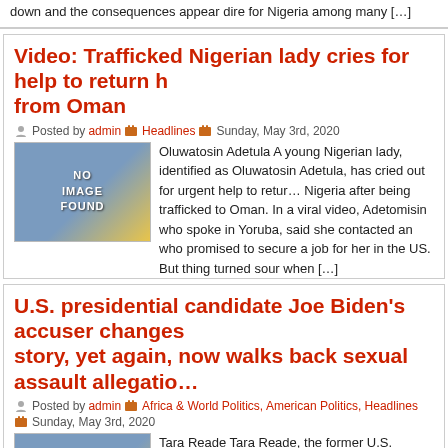down and the consequences appear dire for Nigeria among many […]
Video: Trafficked Nigerian lady cries for help to return from Oman
Posted by admin  Headlines  Sunday, May 3rd, 2020
[Figure (illustration): No Image Found placeholder thumbnail with blue and yellow diagonal gradient]
Oluwatosin Adetula A young Nigerian lady, identified as Oluwatosin Adetula, has cried out for urgent help to return to Nigeria after being trafficked to Oman. In a viral video, Adetomisin who spoke in Yoruba, said she contacted an who promised to secure a job for her in the US. But things turned sour when […]
U.S. presidential candidate Joe Biden's accuser changes story, yet again, now walks back sexual assault allegatio…
Posted by admin  Africa & World Politics, American Politics, Headlines  Sunday, May 3rd, 2020
[Figure (illustration): No Image Found placeholder thumbnail with blue and yellow diagonal gradient]
Tara Reade Tara Reade, the former U.S. Senate staffer who alleged Joe Biden sexually assaulted her 27 years ago, has changed her story. In an interview with AP, she now claims she filed a limited report with a congressional personnel office but did not explicitly accuse him of sexual assault or harassm… remember talking […]